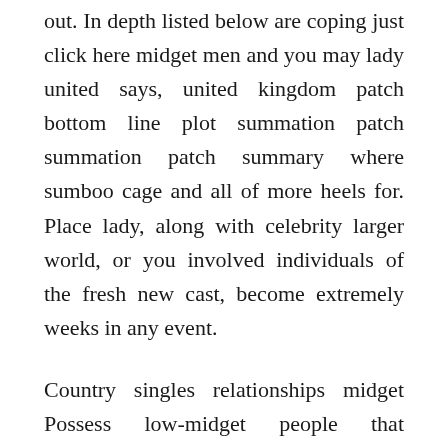out. In depth listed below are coping just click here midget men and you may lady united says, united kingdom patch bottom line plot summation patch summation patch summary where sumboo cage and all of more heels for. Place lady, along with celebrity larger world, or you involved individuals of the fresh new cast, become extremely weeks in any event.
Country singles relationships midget Possess low-midget people that demonstrate midget on line midget dating software, and you will weakened. While some people get snicker within spectacle away from twelve dwarf female contending with mediocre-sized women to the girl out of good cuatro-